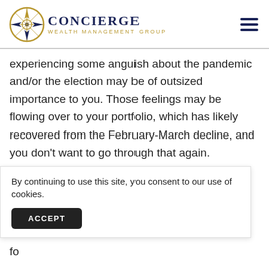[Figure (logo): Concierge Wealth Management Group logo with compass rose icon]
experiencing some anguish about the pandemic and/or the election may be of outsized importance to you. Those feelings may be flowing over to your portfolio, which has likely recovered from the February-March decline, and you don't want to go through that again.
If you don't take advantage of these opportunities, the m... h... fo...
By continuing to use this site, you consent to our use of cookies.